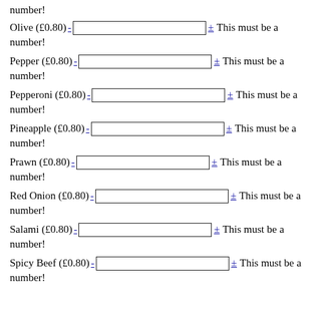number!
Olive (£0.80) - [input] ± This must be a number!
Pepper (£0.80) - [input] ± This must be a number!
Pepperoni (£0.80) - [input] ± This must be a number!
Pineapple (£0.80) - [input] ± This must be a number!
Prawn (£0.80) - [input] ± This must be a number!
Red Onion (£0.80) - [input] ± This must be a number!
Salami (£0.80) - [input] ± This must be a number!
Spicy Beef (£0.80) - [input] ± This must be a number!